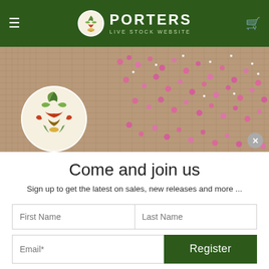PORTERS LIVE STOCK WEBSITE
[Figure (photo): Banner photo of pink flowers on burlap fabric with a circular botanical logo emblem on the left side]
Come and join us
Sign up to get the latest on sales, new releases and more ...